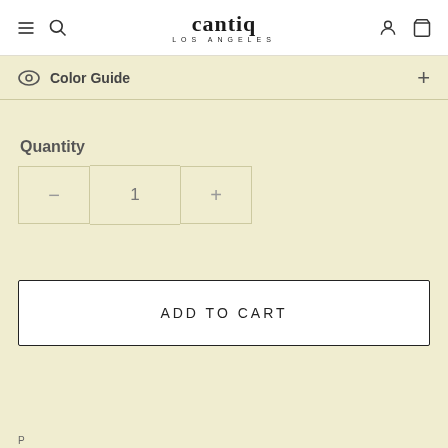cantiq LOS ANGELES
Color Guide +
Quantity
[Figure (screenshot): Quantity controls: minus button, quantity display showing 1, plus button]
ADD TO CART